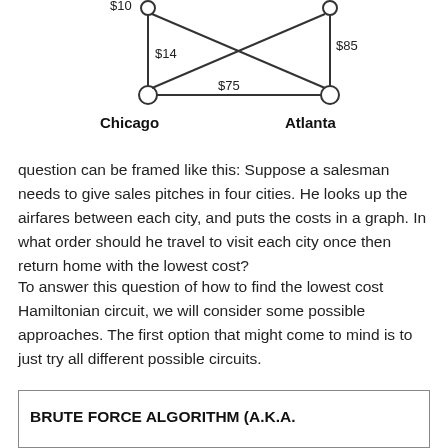[Figure (network-graph): A weighted graph showing cities connected by edges. Chicago and Atlanta are labeled nodes at the bottom. Edges are labeled with costs: $14, $75, $85, and a partially visible $10 at top left.]
question can be framed like this: Suppose a salesman needs to give sales pitches in four cities. He looks up the airfares between each city, and puts the costs in a graph. In what order should he travel to visit each city once then return home with the lowest cost?
To answer this question of how to find the lowest cost Hamiltonian circuit, we will consider some possible approaches. The first option that might come to mind is to just try all different possible circuits.
BRUTE FORCE ALGORITHM (A.K.A.